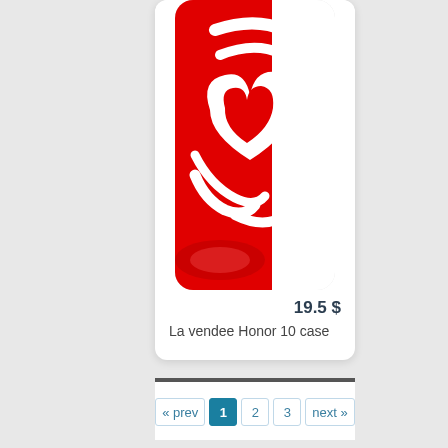[Figure (photo): Phone case product image showing a red and white design with a decorative logo on a smartphone case]
19.5 $
La vendee Honor 10 case
« prev  1  2  3  next »